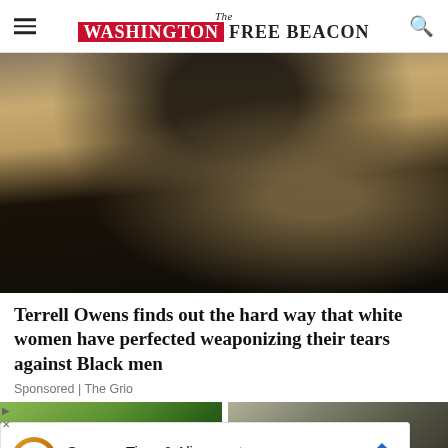The Washington Free Beacon
[Figure (photo): Close-up photo of Terrell Owens wearing sunglasses and a gold/tan blazer with a chain necklace, outdoors at what appears to be a sporting event.]
Terrell Owens finds out the hard way that white women have perfected weaponizing their tears against Black men
Sponsored | The Grio
[Figure (photo): Two thumbnail photos side by side at bottom of page: left shows a couple outdoors in green foliage, right shows a house exterior on a residential street.]
Save on Tires & Alignment
Virginia Tire & Auto of Ashburn Fa...